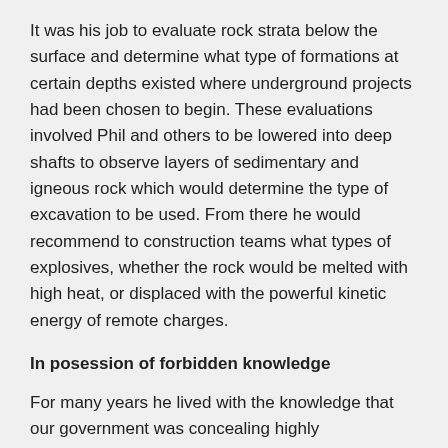It was his job to evaluate rock strata below the surface and determine what type of formations at certain depths existed where underground projects had been chosen to begin. These evaluations involved Phil and others to be lowered into deep shafts to observe layers of sedimentary and igneous rock which would determine the type of excavation to be used. From there he would recommend to construction teams what types of explosives, whether the rock would be melted with high heat, or displaced with the powerful kinetic energy of remote charges.
In posession of forbidden knowledge
For many years he lived with the knowledge that our government was concealing highly controversial operations that centered around secret installations deep within the earth. These military constructs more and more pointed to something sinister as he became more deeply involved.
Strange Partnership